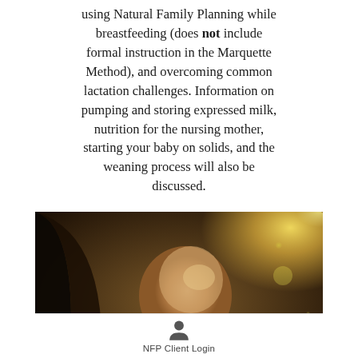using Natural Family Planning while breastfeeding (does not include formal instruction in the Marquette Method), and overcoming common lactation challenges. Information on pumping and storing expressed milk, nutrition for the nursing mother, starting your baby on solids, and the weaning process will also be discussed.
[Figure (photo): A mother holding a newborn baby outdoors with warm golden bokeh sunlight in the background]
NFP Client Login